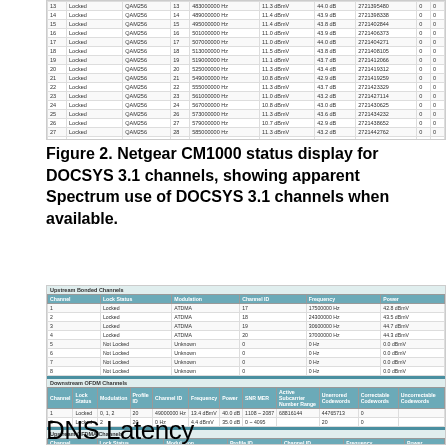[Figure (screenshot): Netgear CM1000 downstream QAM256 channel table showing channels 13-32 with lock status, modulation, channel IDs, frequencies, power, SNR, and corrected/uncorrectable error counts. Last row (32) shows Not Locked/Unknown with 0 Hz.]
Figure 2. Netgear CM1000 status display for DOCSYS 3.1 channels, showing apparent Spectrum use of DOCSYS 3.1 channels when available.
[Figure (screenshot): Netgear CM1000 status display showing Upstream Bonded Channels (ATDMA, channels 1-4 locked, channels 5-8 not locked), Downstream OFDM Channels (channel 1 locked with profile 0,1,2 and channel 2 locked), and Upstream OFDMA Channels (channels 1-2 not locked).]
DNS Latency